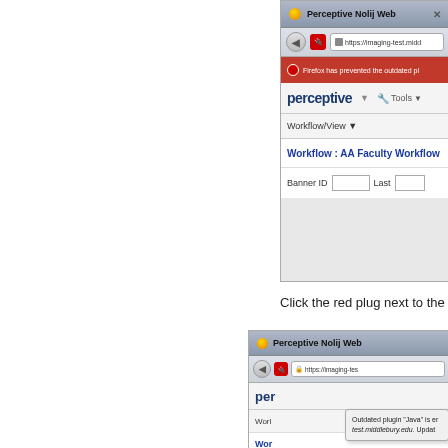[Figure (screenshot): Firefox browser screenshot showing Perceptive Nolij Web application with a red plugin warning bar, navigation toolbar with back button and URL bar (https://imaging-test.midd...), perceptive brand bar with Tools menu, Workflow/View navigation, Workflow: AA Faculty Workflow header, and Banner ID / Last fields form row]
Click the red plug next to the U
[Figure (screenshot): Firefox browser screenshot showing Perceptive Nolij Web with a popup tooltip: 'Outdated plugin "Java" is er... test.middlebury.edu. Updat...' and a Block Plugin button at the bottom]